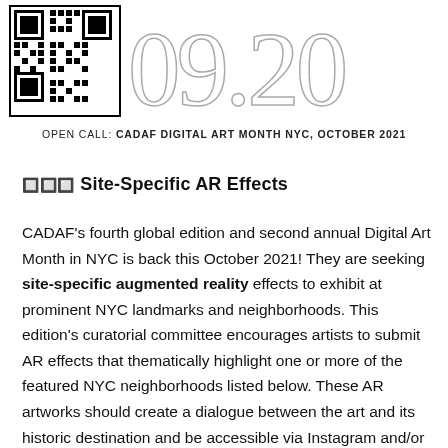[Figure (illustration): QR code on the left and large decorative outlined numbers '09.20...' on the right, partially cropped, forming a header banner]
OPEN CALL: CADAF DIGITAL ART MONTH NYC, OCTOBER 2021
🔲🔲🔲 Site-Specific AR Effects
CADAF's fourth global edition and second annual Digital Art Month in NYC is back this October 2021! They are seeking site-specific augmented reality effects to exhibit at prominent NYC landmarks and neighborhoods. This edition's curatorial committee encourages artists to submit AR effects that thematically highlight one or more of the featured NYC neighborhoods listed below. These AR artworks should create a dialogue between the art and its historic destination and be accessible via Instagram and/or